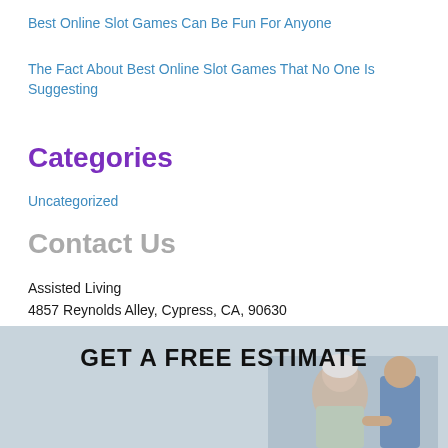Best Online Slot Games Can Be Fun For Anyone
The Fact About Best Online Slot Games That No One Is Suggesting
Categories
Uncategorized
Contact Us
Assisted Living
4857 Reynolds Alley, Cypress, CA, 90630
Call Us: 562-338-3187
http://louishenwood.com
[Figure (photo): Promotional banner with text 'GET A FREE ESTIMATE' overlaid on a photo of an elderly woman and a person in blue, with a light blue/gray background.]